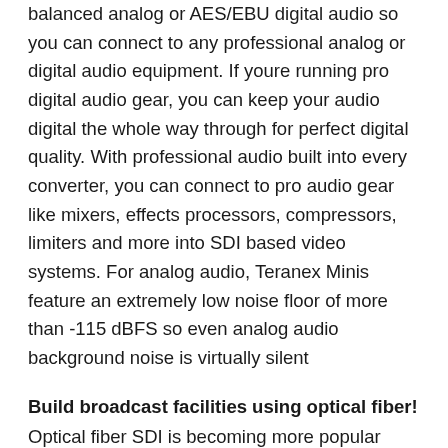balanced analog or AES/EBU digital audio so you can connect to any professional analog or digital audio equipment. If youre running pro digital audio gear, you can keep your audio digital the whole way through for perfect digital quality. With professional audio built into every converter, you can connect to pro audio gear like mixers, effects processors, compressors, limiters and more into SDI based video systems. For analog audio, Teranex Minis feature an extremely low noise floor of more than -115 dBFS so even analog audio background noise is virtually silent
Build broadcast facilities using optical fiber!
Optical fiber SDI is becoming more popular because it handles extremely long distances, even at the high speeds of 12G-SDI. Optical fiber cables can be installed by electricians or computer networking installers so its easy to use. Each model of Teranex Mini has a corresponding optical fiber